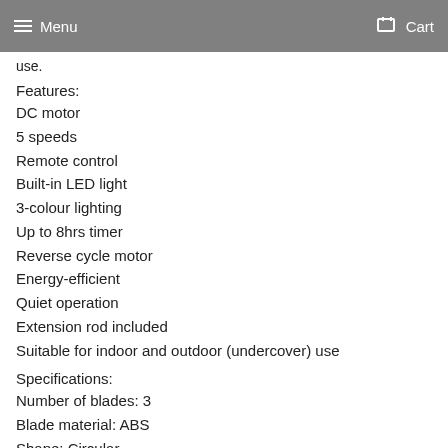Menu   Cart
use.
Features:
DC motor
5 speeds
Remote control
Built-in LED light
3-colour lighting
Up to 8hrs timer
Reverse cycle motor
Energy-efficient
Quiet operation
Extension rod included
Suitable for indoor and outdoor (undercover) use
Specifications:
Number of blades: 3
Blade material: ABS
Shape: Circular
Motor: DC